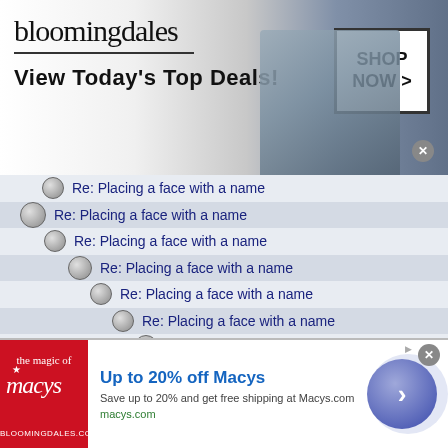[Figure (screenshot): Bloomingdales advertisement banner: logo, fashion model with hat, 'View Today's Top Deals!' tagline, 'SHOP NOW >' button]
Re: Placing a face with a name
Re: Placing a face with a name
Re: Placing a face with a name
Re: Placing a face with a name
Re: Placing a face with a name
Re: Placing a face with a name
Re: Placing a face with a name
Re: Placing a face with a name
Re: Placing a face with a name
Re: Placing a face with a name
[Figure (screenshot): Macy's advertisement banner: red logo box with star, 'Up to 20% off Macys' headline, 'Save up to 20% and get free shipping at Macys.com', 'macys.com' URL, blue circle arrow CTA button]